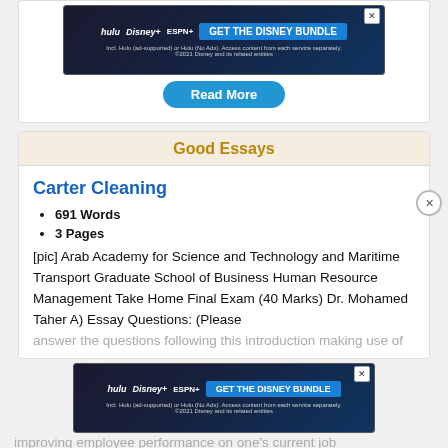[Figure (screenshot): Hulu Disney+ ESPN+ advertisement banner with 'GET THE DISNEY BUNDLE' call to action]
Read More
Good Essays
Carter Cleaning
691 Words
3 Pages
[pic] Arab Academy for Science and Technology and Maritime Transport Graduate School of Business Human Resource Management Take Home Final Exam (40 Marks) Dr. Mohamed Taher A) Essay Questions: (Please answer the questions following this introduction making use of applicable concepts and theories in HRM applicable improving employee performance on one's current job
[Figure (screenshot): Hulu Disney+ ESPN+ advertisement banner with 'GET THE DISNEY BUNDLE' call to action]